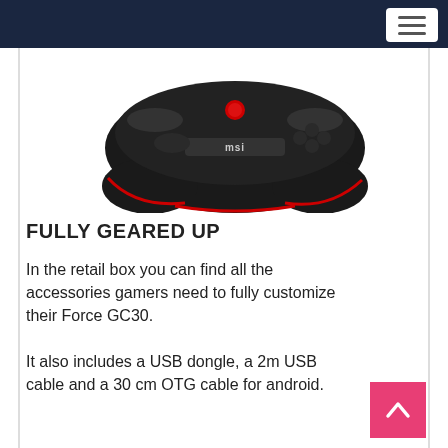[Figure (photo): MSI Force GC30 gaming controller, black with red accents and MSI logo, viewed from above at an angle]
FULLY GEARED UP
In the retail box you can find all the accessories gamers need to fully customize their Force GC30.
It also includes a USB dongle, a 2m USB cable and a 30 cm OTG cable for android.